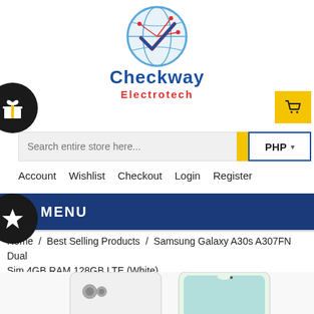[Figure (logo): Checkway Electrotech logo - globe with circuit lines and checkmark, blue and red colors]
Checkway Electrotech
Search entire store here...
PHP
Account  Wishlist  Checkout  Login  Register
MENU
Home / Best Selling Products / Samsung Galaxy A30s A307FN Dual Sim 4GB RAM 128GB LTE (White)
[Figure (photo): Samsung Galaxy A30s smartphone shown from back and front, white color]